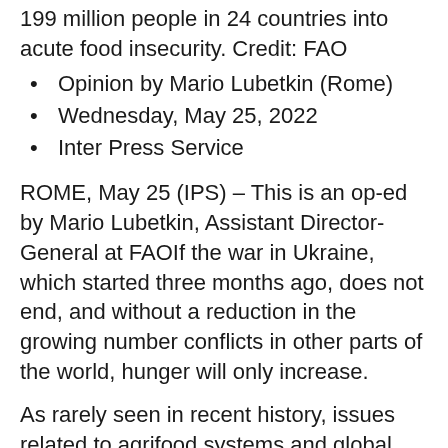199 million people in 24 countries into acute food insecurity. Credit: FAO
Opinion by Mario Lubetkin (Rome)
Wednesday, May 25, 2022
Inter Press Service
ROME, May 25 (IPS) – This is an op-ed by Mario Lubetkin, Assistant Director-General at FAOIf the war in Ukraine, which started three months ago, does not end, and without a reduction in the growing number conflicts in other parts of the world, hunger will only increase.
As rarely seen in recent history, issues related to agrifood systems and global food security are at the center of global and regional debates and actions in the search